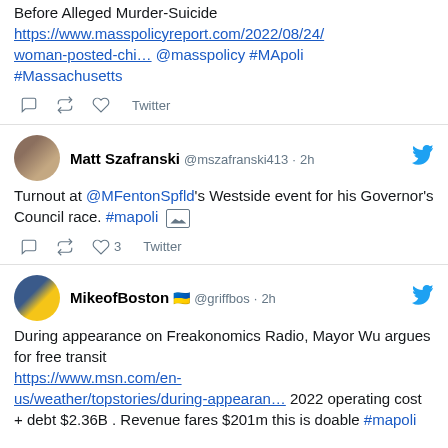Woman Posted Chilling Facebook Message Before Alleged Murder-Suicide https://www.masspolicyreport.com/2022/08/24/woman-posted-chi… @masspolicy #MApoli #Massachusetts
Twitter (actions)
Matt Szafranski @mszafranski413 · 2h
Turnout at @MFentonSpfld's Westside event for his Governor's Council race. #mapoli [image]
3 Twitter (actions)
MikeofBoston 🇺🇦 @griffbos · 2h
During appearance on Freakonomics Radio, Mayor Wu argues for free transit https://www.msn.com/en-us/weather/topstories/during-appearan… 2022 operating cost + debt $2.36B . Revenue fares $201m this is doable #mapoli